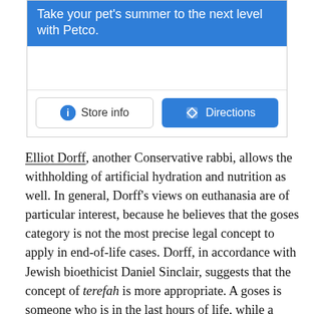[Figure (screenshot): Petco advertisement banner with blue background reading 'Take your pet's summer to the next level with Petco.' and two buttons: 'Store info' and 'Directions']
Elliot Dorff, another Conservative rabbi, allows the withholding of artificial hydration and nutrition as well. In general, Dorff's views on euthanasia are of particular interest, because he believes that the goses category is not the most precise legal concept to apply in end-of-life cases. Dorff, in accordance with Jewish bioethicist Daniel Sinclair, suggests that the concept of terefah is more appropriate. A goses is someone who is in the last hours of life, while a terefah is someone who has an incurable